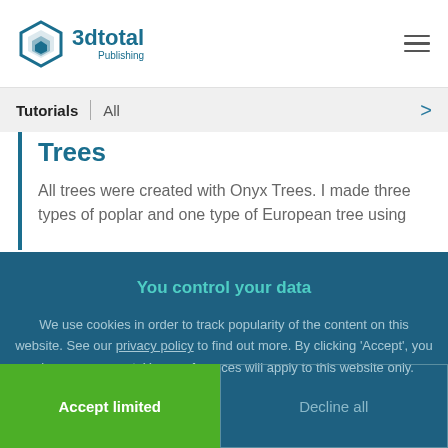3dtotal Publishing
Tutorials | All
Trees
All trees were created with Onyx Trees. I made three types of poplar and one type of European tree using
You control your data
We use cookies in order to track popularity of the content on this website. See our privacy policy to find out more. By clicking 'Accept', you give your consent. Your preferences will apply to this website only.
Accept limited
Decline all